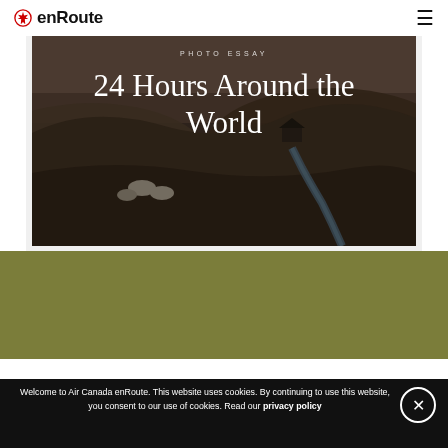enRoute
[Figure (photo): Landscape photo essay hero image showing a dark moody countryside scene with rolling hills, a winding stream, sheep, and overcast sky. Text overlay reads 'PHOTO ESSAY' and '24 Hours Around the World'.]
24 Hours Around the World
Welcome to Air Canada enRoute. This website uses cookies. By continuing to use this website, you consent to our use of cookies. Read our privacy policy